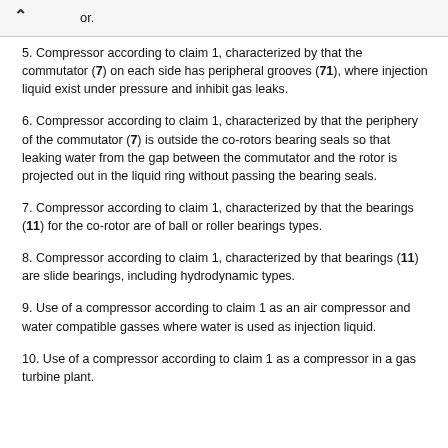or.
5. Compressor according to claim 1, characterized by that the commutator (7) on each side has peripheral grooves (71), where injection liquid exist under pressure and inhibit gas leaks.
6. Compressor according to claim 1, characterized by that the periphery of the commutator (7) is outside the co-rotors bearing seals so that leaking water from the gap between the commutator and the rotor is projected out in the liquid ring without passing the bearing seals.
7. Compressor according to claim 1, characterized by that the bearings (11) for the co-rotor are of ball or roller bearings types.
8. Compressor according to claim 1, characterized by that bearings (11) are slide bearings, including hydrodynamic types.
9. Use of a compressor according to claim 1 as an air compressor and water compatible gasses where water is used as injection liquid.
10. Use of a compressor according to claim 1 as a compressor in a gas turbine plant.